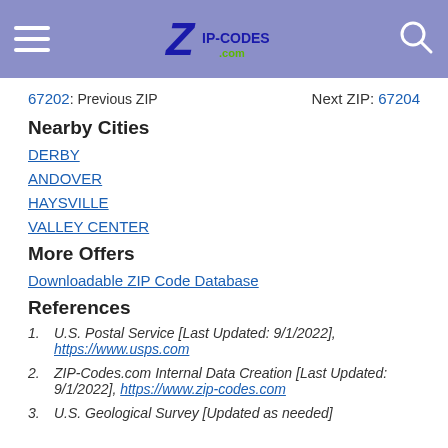ZIP-CODES.com header with hamburger menu and search icon
67202: Previous ZIP    Next ZIP: 67204
Nearby Cities
DERBY
ANDOVER
HAYSVILLE
VALLEY CENTER
More Offers
Downloadable ZIP Code Database
References
1. U.S. Postal Service [Last Updated: 9/1/2022], https://www.usps.com
2. ZIP-Codes.com Internal Data Creation [Last Updated: 9/1/2022], https://www.zip-codes.com
3. U.S. Geological Survey [Updated as needed]